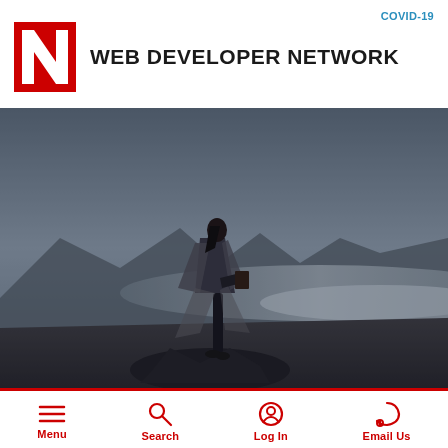COVID-19
WEB DEVELOPER NETWORK
[Figure (photo): Person standing on a rocky outcrop wearing a blanket/shawl, looking out over a misty mountain landscape at dusk]
[Figure (logo): University of Nebraska red N logo block]
Menu
Search
Log In
Email Us